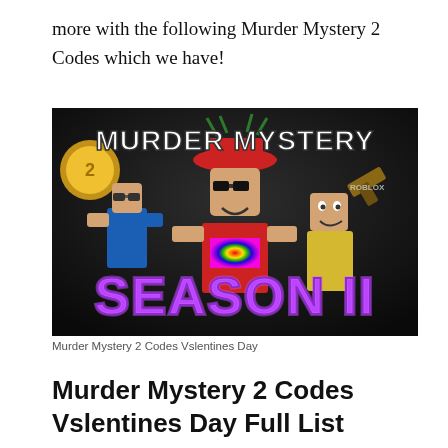more with the following Murder Mystery 2 Codes which we have!
[Figure (screenshot): Murder Mystery 2 Season II promotional game image showing Roblox characters with the text 'MURDER MYSTERY' at the top and 'SEASON II' in large purple letters at the bottom, on a dark background.]
Murder Mystery 2 Codes Vslentines Day
Murder Mystery 2 Codes Vslentines Day Full List